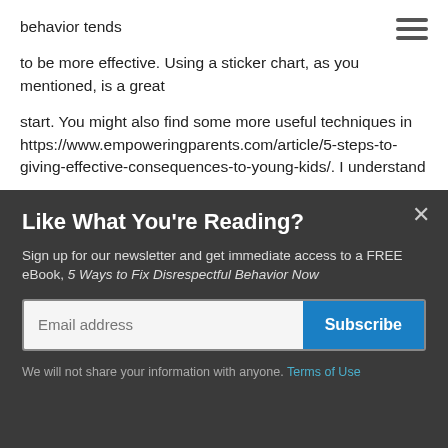[Figure (other): Hamburger menu icon (three horizontal lines) in top right corner]
behavior tends
to be more effective.  Using a sticker chart, as you mentioned, is a great
start.  You might also find some more useful techniques in https://www.empoweringparents.com/article/5-steps-to-giving-effective-consequences-to-young-kids/.  I understand
how challenging this can be, and I hope that you will write back, and
Like What You're Reading?
Sign up for our newsletter and get immediate access to a FREE eBook, 5 Ways to Fix Disrespectful Behavior Now
Email address
Subscribe
We will not share your information with anyone. Terms of Use